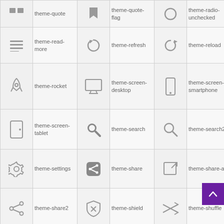| Icon | Name | Icon | Name | Icon | Name |
| --- | --- | --- | --- | --- | --- |
| [icon] | theme-quote | [icon] | theme-quote-flag | [icon] | theme-radio-unchecked |
| [icon] | theme-read-more | [icon] | theme-refresh | [icon] | theme-reload |
| [icon] | theme-rocket | [icon] | theme-screen-desktop | [icon] | theme-screen-smartphone |
| [icon] | theme-screen-tablet | [icon] | theme-search | [icon] | theme-search2 |
| [icon] | theme-settings | [icon] | theme-share | [icon] | theme-share-alt |
| [icon] | theme-share2 | [icon] | theme-shield | [icon] | theme-shuffle |
| [icon] | theme-size-actual | [icon] | theme-size-fullscreen | [icon] | theme-social-dribbble |